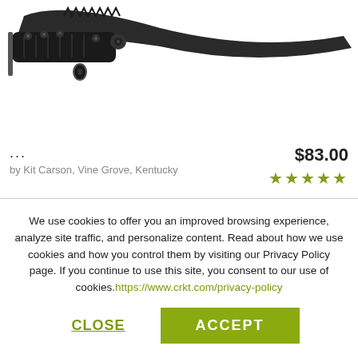[Figure (photo): Black folding tactical knife with serrated blade, photographed on white background, top portion visible]
...
by Kit Carson, Vine Grove, Kentucky
$83.00
★★★★★
[Figure (photo): Second product card partially visible below, showing grey background with a small circular element]
We use cookies to offer you an improved browsing experience, analyze site traffic, and personalize content. Read about how we use cookies and how you control them by visiting our Privacy Policy page. If you continue to use this site, you consent to our use of cookies.https://www.crkt.com/privacy-policy
CLOSE
ACCEPT